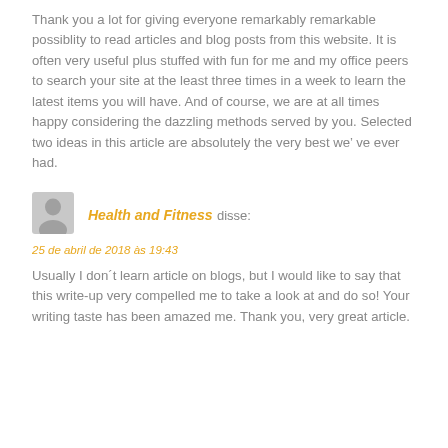Thank you a lot for giving everyone remarkably remarkable possiblity to read articles and blog posts from this website. It is often very useful plus stuffed with fun for me and my office peers to search your site at the least three times in a week to learn the latest items you will have. And of course, we are at all times happy considering the dazzling methods served by you. Selected two ideas in this article are absolutely the very best we've ever had.
[Figure (illustration): Generic user avatar icon - grey silhouette of a person]
Health and Fitness disse:
25 de abril de 2018 às 19:43
Usually I don't learn article on blogs, but I would like to say that this write-up very compelled me to take a look at and do so! Your writing taste has been amazed me. Thank you, very great article.